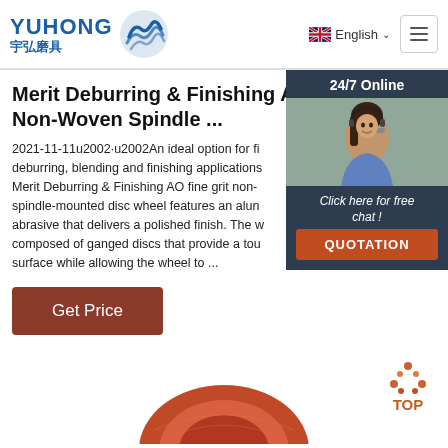YUHONG 宇弘磨具 | English | Navigation menu
Merit Deburring & Finishing AO F Non-Woven Spindle ...
2021-11-11u2002·u2002An ideal option for fi deburring, blending and finishing applications Merit Deburring & Finishing AO fine grit non- spindle-mounted disc wheel features an alun abrasive that delivers a polished finish. The w composed of ganged discs that provide a tou surface while allowing the wheel to ...
[Figure (photo): Customer service representative woman with headset smiling, shown in chat widget with 24/7 Online label, Click here for free chat, and QUOTATION button]
Get Price
[Figure (infographic): TOP back-to-top button with orange dot triangle icon above text TOP]
[Figure (photo): Partial view of an abrasive disc product in orange/red color at the bottom of the page]